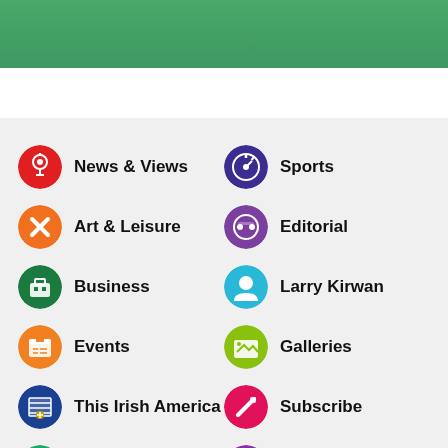[Figure (other): Green header banner at top of page]
News & Views
Sports
Art & Leisure
Editorial
Business
Larry Kirwan
Events
Galleries
This Irish America
Subscribe
About
Advertise
Contact